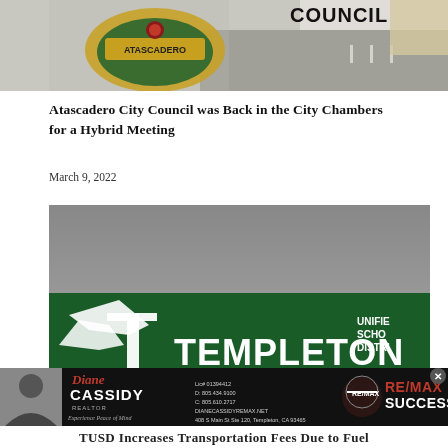[Figure (photo): Top banner image showing Atascadero city logo/seal and aerial/street view with 'COUNCIL' text visible]
Atascadero City Council was Back in the City Chambers for a Hybrid Meeting
March 9, 2022
[Figure (photo): Templeton Unified School District advertisement banner - green background with eagle logo, 'TEMPLETON' in large white text, 'UNIFIED SCHOOL DISTRICT', 'HOME OF TOMORROW'S LEADERS' tagline]
advertisement
[Figure (photo): Diane Cassidy RE/MAX Success realtor advertisement with photo of agent, contact information, and RE/MAX balloon logo]
TUSD Increases Transportation Fees Due to Fuel